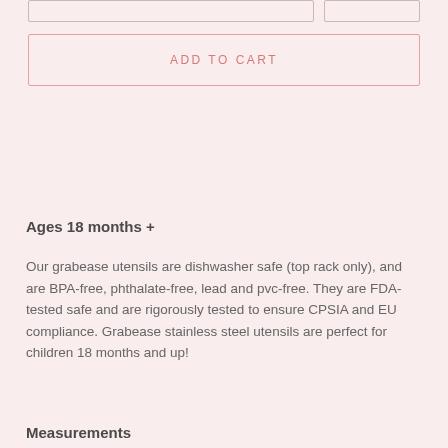ADD TO CART
Ages 18 months +
Our grabease utensils are dishwasher safe (top rack only), and are BPA-free, phthalate-free, lead and pvc-free. They are FDA-tested safe and are rigorously tested to ensure CPSIA and EU compliance. Grabease stainless steel utensils are perfect for children 18 months and up!
Measurements